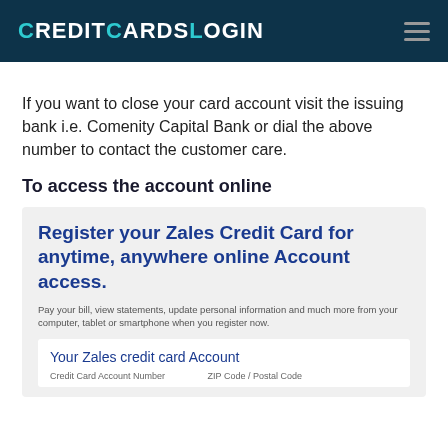CreditCardsLogin
If you want to close your card account visit the issuing bank i.e. Comenity Capital Bank or dial the above number to contact the customer care.
To access the account online
[Figure (screenshot): Screenshot of Zales Credit Card registration box with title 'Register your Zales Credit Card for anytime, anywhere online Account access.' and a sub-box labeled 'Your Zales credit card Account' with fields for Credit Card Account Number and ZIP Code / Postal Code.]